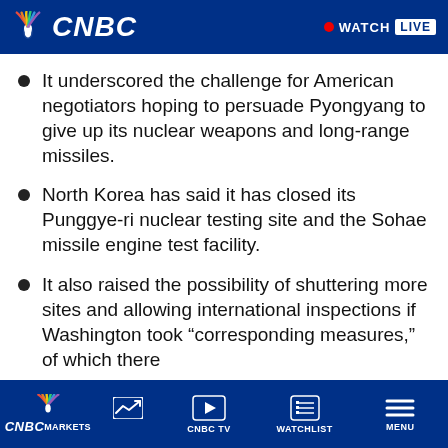CNBC — WATCH LIVE
It underscored the challenge for American negotiators hoping to persuade Pyongyang to give up its nuclear weapons and long-range missiles.
North Korea has said it has closed its Punggye-ri nuclear testing site and the Sohae missile engine test facility.
It also raised the possibility of shuttering more sites and allowing international inspections if Washington took “corresponding measures,” of which there
CNBC MARKETS | CNBC TV | WATCHLIST | MENU